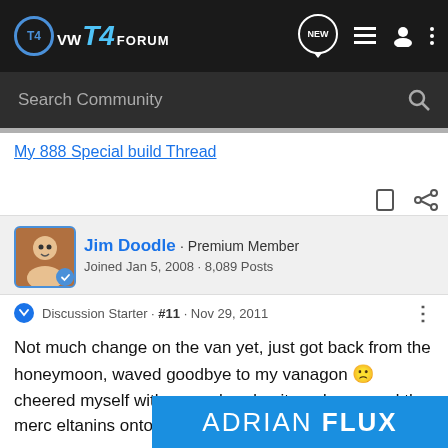VW T4 FORUM
Search Community
My 888 Special build Thread
Jim Doodle · Premium Member
Joined Jan 5, 2008 · 8,089 Posts
Discussion Starter · #11 · Nov 29, 2011
Not much change on the van yet, just got back from the honeymoon, waved goodbye to my vanagon 🙁 cheered myself with a new head unit, and swapped the merc eltanins onto the
[Figure (other): ADRIAN FLUX advertisement banner]